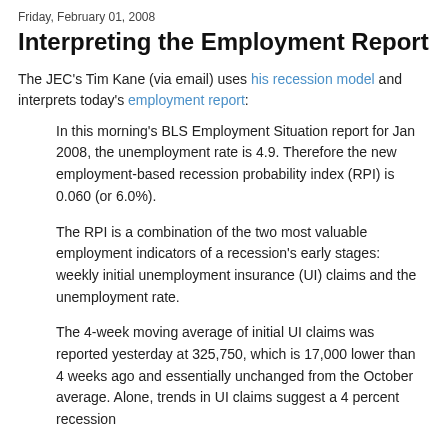Friday, February 01, 2008
Interpreting the Employment Report
The JEC's Tim Kane (via email) uses his recession model and interprets today's employment report:
In this morning's BLS Employment Situation report for Jan 2008, the unemployment rate is 4.9. Therefore the new employment-based recession probability index (RPI) is 0.060 (or 6.0%).
The RPI is a combination of the two most valuable employment indicators of a recession's early stages: weekly initial unemployment insurance (UI) claims and the unemployment rate.
The 4-week moving average of initial UI claims was reported yesterday at 325,750, which is 17,000 lower than 4 weeks ago and essentially unchanged from the October average. Alone, trends in UI claims suggest a 4 percent recession